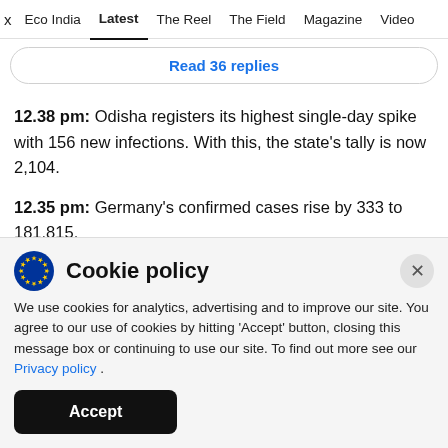x  Eco India  Latest  The Reel  The Field  Magazine  Video
Read 36 replies
12.38 pm: Odisha registers its highest single-day spike with 156 new infections. With this, the state's tally is now 2,104.
12.35 pm: Germany's confirmed cases rise by 333 to 181.815.
Cookie policy
We use cookies for analytics, advertising and to improve our site. You agree to our use of cookies by hitting 'Accept' button, closing this message box or continuing to use our site. To find out more see our Privacy policy .
Accept